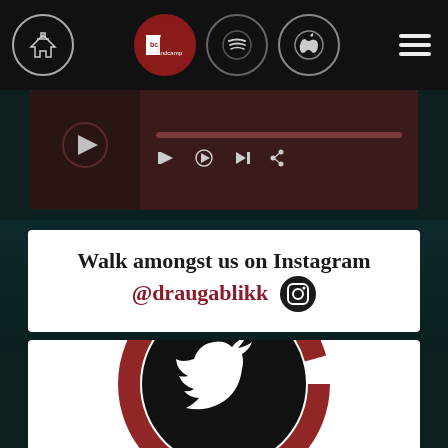[Figure (screenshot): Website navigation bar with home icon, Bandcamp, Spotify, Apple Music icons, and hamburger menu]
[Figure (screenshot): Music player bar with thumbnail and playback controls on dark reddish-brown background]
Walk amongst us on Instagram @draugablikk
[Figure (logo): Twitter bird logo in white on black circle with dark red brushstroke ring, on white background]